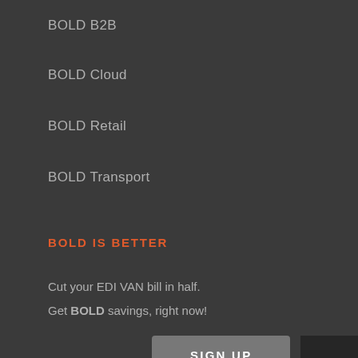BOLD B2B
BOLD Cloud
BOLD Retail
BOLD Transport
BOLD IS BETTER
Cut your EDI VAN bill in half.
Get BOLD savings, right now!
SIGN UP
RESOURCES